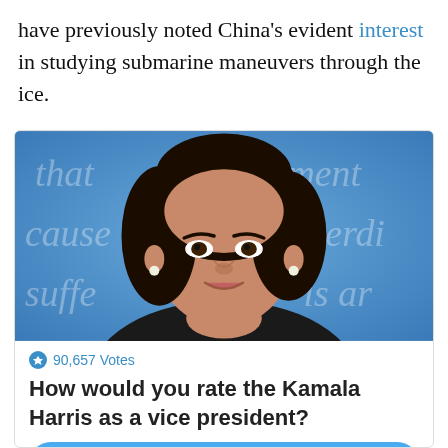have previously noted China's evident interest in studying submarine maneuvers through the ice.
[Figure (photo): Photo of Kamala Harris at a debate stage with blue background and text words visible behind her]
90,657 Votes
How would you rate the Kamala Harris as a vice president?
Great